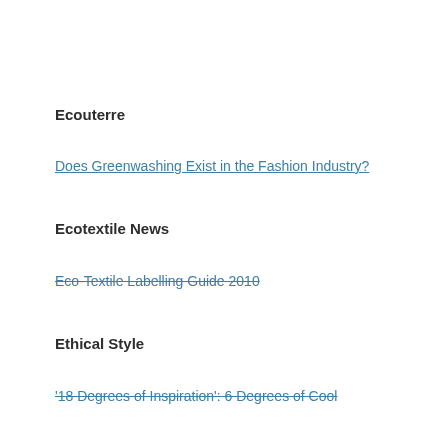Ecouterre
Does Greenwashing Exist in the Fashion Industry?
Ecotextile News
Eco-Textile Labelling Guide 2010
Ethical Style
'18 Degrees of Inspiration': 6 Degrees of Cool